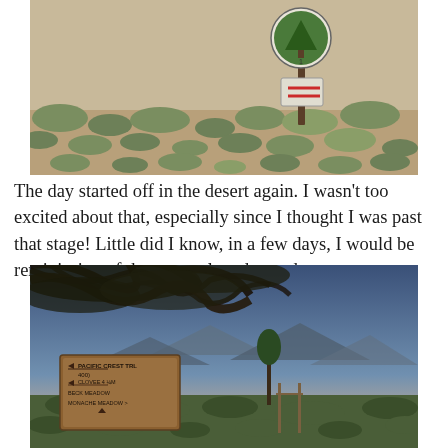[Figure (photo): Desert landscape with scrubby sage brush vegetation, a PCT (Pacific Crest Trail) sign on a wooden post visible in the upper right portion of the image, and sandy arid terrain.]
The day started off in the desert again. I wasn't too excited about that, especially since I thought I was past that stage! Little did I know, in a few days, I would be reminiscing of these snowless desert days.
[Figure (photo): A wooden PCT trail sign with arrows pointing left reading 'Pacific Crest Trail 400', 'Clovis 4 mi', 'Beck Meadow', 'Monache Meadow', set under dark pine tree branches with a scenic mountain valley and pastel sunset sky in the background.]